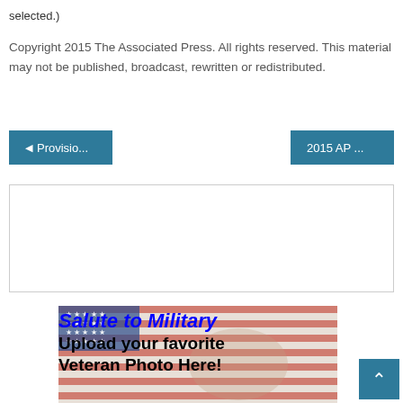selected.)
Copyright 2015 The Associated Press. All rights reserved. This material may not be published, broadcast, rewritten or redistributed.
◄ Provisio...
2015 AP ...
[Figure (other): Empty advertisement placeholder box with border]
[Figure (illustration): Salute to Military banner with American flag background. Text reads: 'Salute to Military Upload your favorite Veteran Photo Here!']